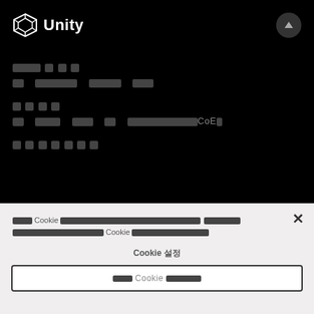[Figure (logo): Unity logo with cube icon and word Unity in white on black background]
████
██  ██████████  ████████  ████
████
██  █████  ████  ██  ████████████████CoE█
███████
█████ Cookie ████████████████████████████████████████████████████████████████████████████████ Cookie ████████████████████
Cookie 설정
모든 Cookie 수락하기